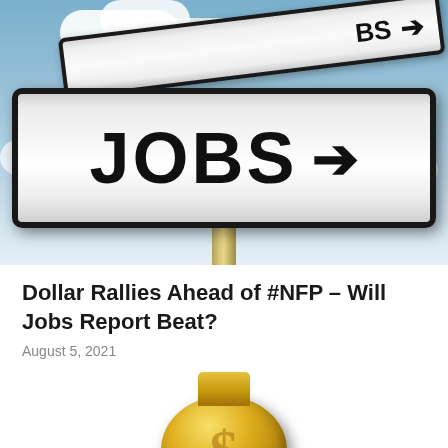[Figure (photo): Road signs on a post against a blue sky with clouds. The main sign reads 'JOBS' with a right-pointing arrow. A second sign partially visible at the top also has an arrow pointing right.]
Dollar Rallies Ahead of #NFP – Will Jobs Report Beat?
August 5, 2021
[Figure (photo): Partial view of a gold dollar coin symbol, showing the top portion of a golden circular coin with a dollar sign emblem.]